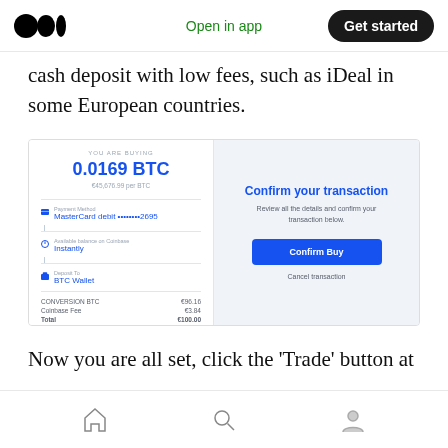Medium logo | Open in app | Get started
cash deposit with low fees, such as iDeal in some European countries.
[Figure (screenshot): Coinbase purchase confirmation screen showing 0.0169 BTC purchase. Left panel: YOU ARE BUYING, 0.0169 BTC, €45,676.99 per BTC, Payment Method: MasterCard debit ••••••••2695, Available balance on Coinbase: Instantly, Deposit To: BTC Wallet, CONVERSION BTC: €96.16, Coinbase Fee: €3.84, Total: €100.00. Right panel: Confirm your transaction, Review all the details and confirm your transaction below, Confirm Buy button, Cancel transaction link.]
Now you are all set, click the 'Trade' button at
Home | Search | Profile navigation icons